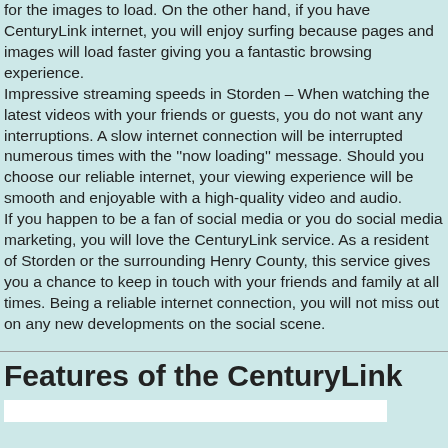for the images to load. On the other hand, if you have CenturyLink internet, you will enjoy surfing because pages and images will load faster giving you a fantastic browsing experience. Impressive streaming speeds in Storden – When watching the latest videos with your friends or guests, you do not want any interruptions. A slow internet connection will be interrupted numerous times with the ''now loading'' message. Should you choose our reliable internet, your viewing experience will be smooth and enjoyable with a high-quality video and audio. If you happen to be a fan of social media or you do social media marketing, you will love the CenturyLink service. As a resident of Storden or the surrounding Henry County, this service gives you a chance to keep in touch with your friends and family at all times. Being a reliable internet connection, you will not miss out on any new developments on the social scene.
Features of the CenturyLink S...